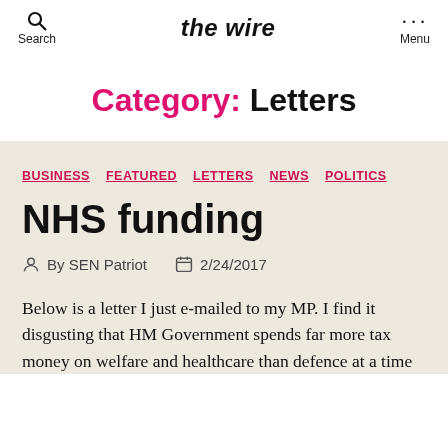Search | the wire | Menu
Category: Letters
BUSINESS   FEATURED   LETTERS   NEWS   POLITICS
NHS funding
By SEN Patriot   2/24/2017
Below is a letter I just e-mailed to my MP. I find it disgusting that HM Government spends far more tax money on welfare and healthcare than defence at a time